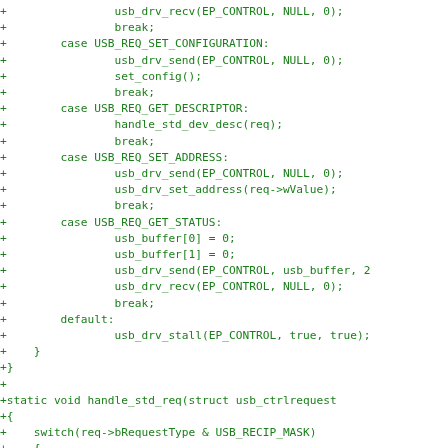Code diff showing USB request handling in C, including cases for USB_REQ_SET_CONFIGURATION, USB_REQ_GET_DESCRIPTOR, USB_REQ_SET_ADDRESS, USB_REQ_GET_STATUS, default/stall, and handle_std_req function stub.